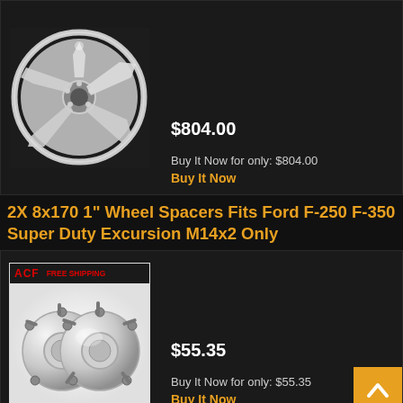[Figure (photo): Chrome 5-spoke alloy wheel on dark background]
$804.00
Buy It Now for only: $804.00
Buy It Now
2X 8x170 1" Wheel Spacers Fits Ford F-250 F-350 Super Duty Excursion M14x2 Only
[Figure (photo): Two silver wheel spacers with bolts/studs on white background, ACF brand with free shipping label]
$55.35
Buy It Now for only: $55.35
Buy It Now